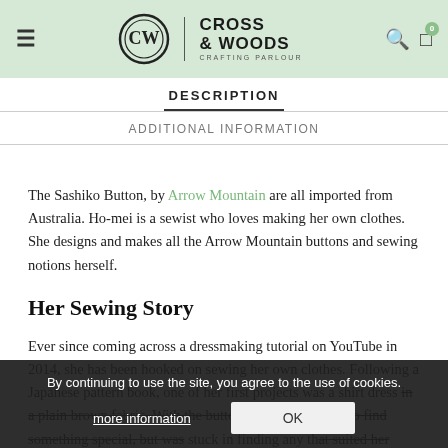Cross & Woods Crafting Parlour — navigation header with logo, search, and cart
DESCRIPTION
ADDITIONAL INFORMATION
The Sashiko Button, by Arrow Mountain are all imported from Australia. Ho-mei is a sewist who loves making her own clothes. She designs and makes all the Arrow Mountain buttons and sewing notions herself.
Her Sewing Story
Ever since coming across a dressmaking tutorial on YouTube in 2014, she has been hooked on sewing her own clothes. Following a Japanese pattern book, one of her first projects was a shirt dress in a plain brown fabric. With the buttons, she was hoping to find something special, but was stuck in finding any that suited her vision, so she decided to design and make her own buttons – with the help of a laser cutting machine! Soon enough, she was making more buttons than she